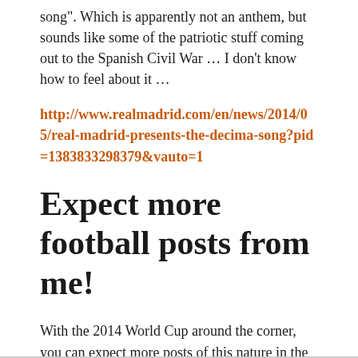song". Which is apparently not an anthem, but sounds like some of the patriotic stuff coming out to the Spanish Civil War … I don't know how to feel about it …
http://www.realmadrid.com/en/news/2014/05/real-madrid-presents-the-decima-song?pid=1383833298379&vauto=1
Expect more football posts from me!
With the 2014 World Cup around the corner, you can expect more posts of this nature in the next month or so. You have been warned.